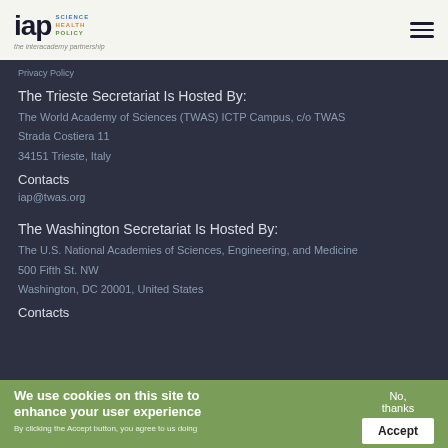IAP Science Health Policy – the interacademy partnership
Privacy Policy
The Trieste Secretariat Is Hosted By:
The World Academy of Sciences (TWAS) ICTP Campus, c/o TWAS
Strada Costiera 11
34151 Trieste, Italy
Contacts
iap@twas.org
The Washington Secretariat Is Hosted By:
The U.S. National Academies of Sciences, Engineering, and Medicine
500 Fifth St. NW
Washington, DC 20001, United States
Contacts
We use cookies on this site to enhance your user experience
No, thanks
Accept
By clicking the Accept button, you agree to us doing